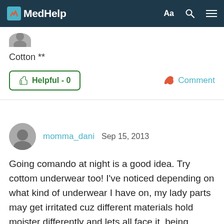MedHelp
Cotton **
Helpful - 0
Comment
momma_dani Sep 15, 2013
Going comando at night is a good idea. Try cottom underwear too! I've noticed depending on what kind of underwear I have on, my lady parts may get irritated cuz different materials hold moister differently and lets all face it, being pregnant comes hand in hand with discharge. Maybe unscented panty liners would help too on that note :)